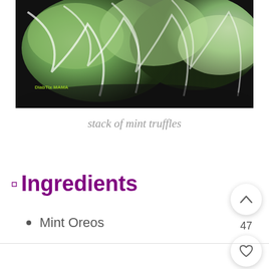[Figure (photo): Close-up photo of green and white mint truffles with drizzled white chocolate coating, on a dark background. A small watermark logo is visible in the lower left of the image.]
stack of mint truffles
🟪 Ingredients
Mint Oreos